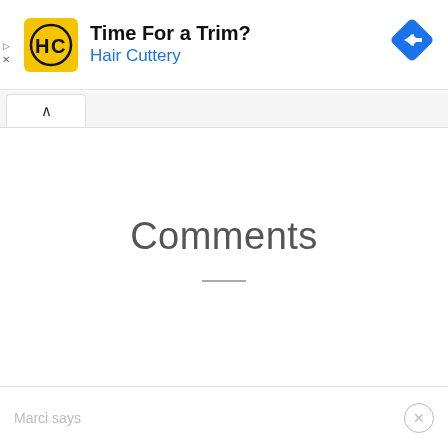[Figure (screenshot): Hair Cuttery advertisement banner with yellow logo, 'Time For a Trim?' headline, 'Hair Cuttery' subtitle in blue, and blue navigation diamond icon on the right]
Comments
Marci says